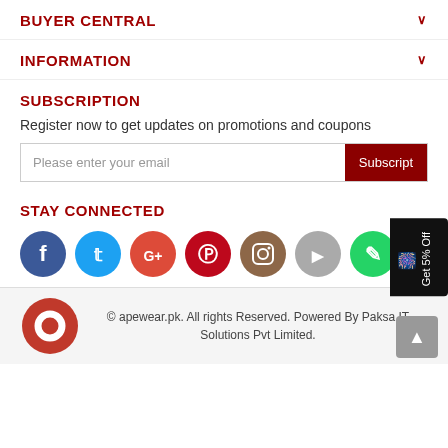BUYER CENTRAL
INFORMATION
SUBSCRIPTION
Register now to get updates on promotions and coupons
Please enter your email | Subscribe
STAY CONNECTED
[Figure (other): Social media icon buttons: Facebook, Twitter, Google+, Pinterest, Instagram, YouTube, WhatsApp]
© apewear.pk. All rights Reserved. Powered By Paksa IT Solutions Pvt Limited.